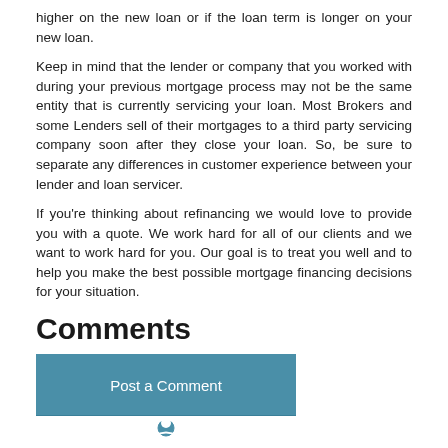higher on the new loan or if the loan term is longer on your new loan.
Keep in mind that the lender or company that you worked with during your previous mortgage process may not be the same entity that is currently servicing your loan. Most Brokers and some Lenders sell of their mortgages to a third party servicing company soon after they close your loan. So, be sure to separate any differences in customer experience between your lender and loan servicer.
If you're thinking about refinancing we would love to provide you with a quote. We work hard for all of our clients and we want to work hard for you. Our goal is to treat you well and to help you make the best possible mortgage financing decisions for your situation.
Comments
[Figure (other): Post a Comment button in teal/blue color with a user icon below it]
Recent Posts